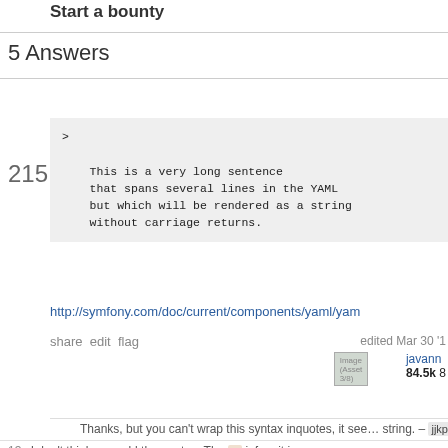Start a bounty
5 Answers
215
[Figure (screenshot): Code block showing YAML multiline string syntax with > character and indented text spanning multiple lines]
http://symfony.com/doc/current/components/yaml/yam...
share  edit  flag
edited Mar 30 '1
[Figure (photo): User avatar image for javann]
javann
84.5k  8
Thanks, but you can't wrap this syntax in quotes, it see... string. – jjkparker  Sep 27 '10 at 16:55
13  I don't think you add the quotes. The > infers it is a s...